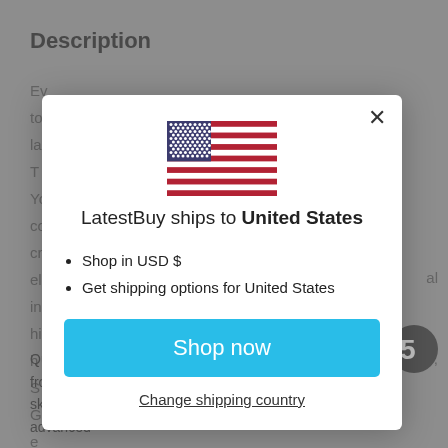Description
Ev... to... la... T... Yo... co... cr... el... in... hi... h... S... G... e...
[Figure (infographic): Modal dialog box showing LatestBuy ships to United States with US flag, bullet points for USD$ shopping and shipping options, a cyan Shop now button, and a Change shipping country link]
Quercetti toys span a wide range of categories and stages, from... skill builders to craft activities, pure educational products to advanced